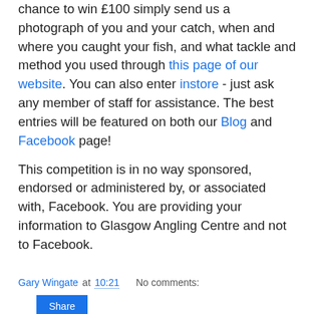chance to win £100 simply send us a photograph of you and your catch, when and where you caught your fish, and what tackle and method you used through this page of our website. You can also enter instore - just ask any member of staff for assistance. The best entries will be featured on both our Blog and Facebook page!
This competition is in no way sponsored, endorsed or administered by, or associated with, Facebook. You are providing your information to Glasgow Angling Centre and not to Facebook.
Gary Wingate at 10:21    No comments:
Share
Fish of the Month December Entry - Ayrshire Pike!